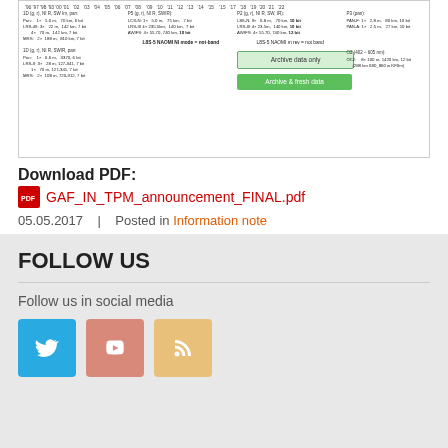[Figure (screenshot): Screenshot of a satellite data coverage chart with timeline from 1986 to 2022 showing data availability for various sensors, with two buttons: 'Archive data only' and 'Archive & fresh data']
Download PDF:
GAF_IN_TPM_announcement_FINAL.pdf
05.05.2017   |   Posted in Information note
FOLLOW US
Follow us in social media
[Figure (infographic): Three social media icons: Twitter (blue), YouTube (pink/red), RSS (orange/yellow)]
SEARCH